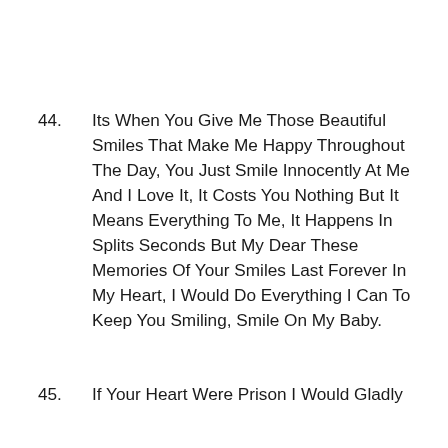44. Its When You Give Me Those Beautiful Smiles That Make Me Happy Throughout The Day, You Just Smile Innocently At Me And I Love It, It Costs You Nothing But It Means Everything To Me, It Happens In Splits Seconds But My Dear These Memories Of Your Smiles Last Forever In My Heart, I Would Do Everything I Can To Keep You Smiling, Smile On My Baby.
45. If Your Heart Were Prison I Would Gladly Be Held Captive In There For A Lifetime.